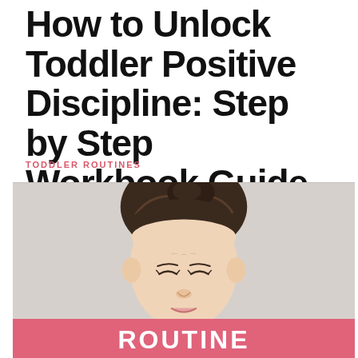How to Unlock Toddler Positive Discipline: Step by Step Workbook Guide
TODDLER ROUTINES
[Figure (photo): Close-up photo of a young toddler girl with dark hair in a bun, looking downward, with a pink banner overlay reading TODDLER ROUTINE]